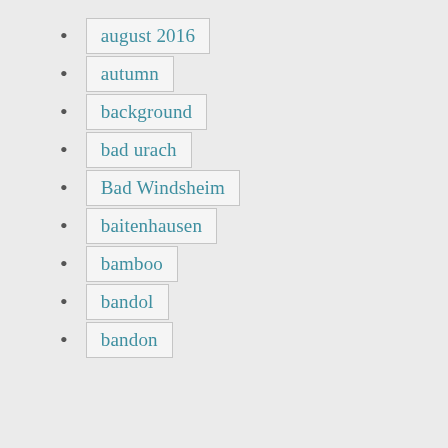august 2016
autumn
background
bad urach
Bad Windsheim
baitenhausen
bamboo
bandol
bandon